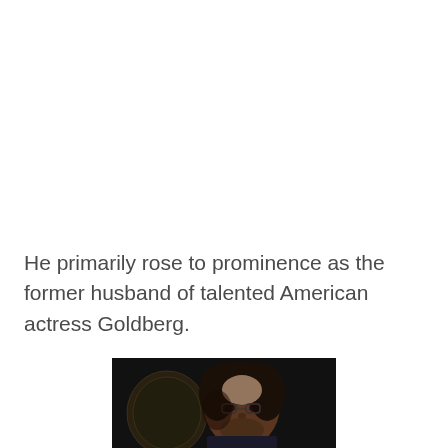He primarily rose to prominence as the former husband of talented American actress Goldberg.
[Figure (photo): A photo of a person with dark curly hair, partially visible against a dark background, with what appears to be a decorative element on the left side.]